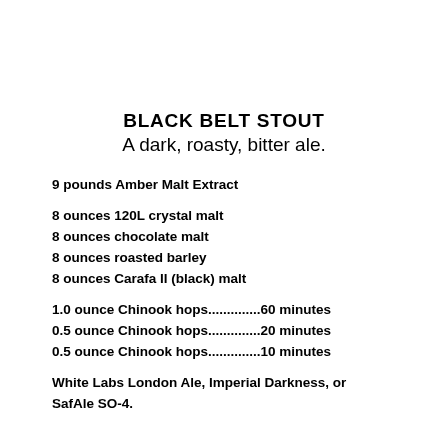BLACK BELT STOUT
A dark, roasty, bitter ale.
9 pounds Amber Malt Extract
8 ounces 120L crystal malt
8 ounces chocolate malt
8 ounces roasted barley
8 ounces Carafa II (black) malt
1.0 ounce Chinook hops..............60 minutes
0.5 ounce Chinook hops..............20 minutes
0.5 ounce Chinook hops..............10 minutes
White Labs London Ale, Imperial Darkness, or SafAle SO-4.